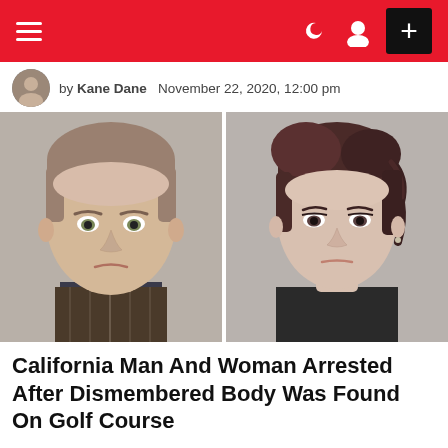Navigation bar with hamburger menu, dark mode toggle, user icon, and plus button
by Kane Dane  November 22, 2020, 12:00 pm
[Figure (photo): Two mugshot photos side by side: on the left, a middle-aged white man with short light brown hair wearing a plaid shirt; on the right, a young white woman with dark brown upswept hair.]
California Man And Woman Arrested After Dismembered Body Was Found On Golf Course